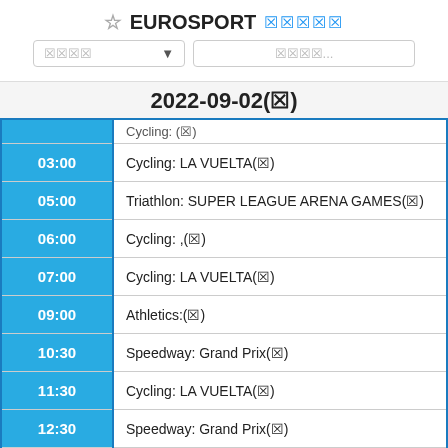☆ EUROSPORT 🔲🔲🔲🔲🔲
2022-09-02(🔲)
| Time | Event |
| --- | --- |
| 03:00 | Cycling: LA VUELTA(🔲) |
| 05:00 | Triathlon: SUPER LEAGUE ARENA GAMES(🔲) |
| 06:00 | Cycling: ,(🔲) |
| 07:00 | Cycling: LA VUELTA(🔲) |
| 09:00 | Athletics:(🔲) |
| 10:30 | Speedway: Grand Prix(🔲) |
| 11:30 | Cycling: LA VUELTA(🔲) |
| 12:30 | Speedway: Grand Prix(🔲) |
| 13:30 | Triathlon: SUPER LEAGUE ARENA GAMES(🔲) |